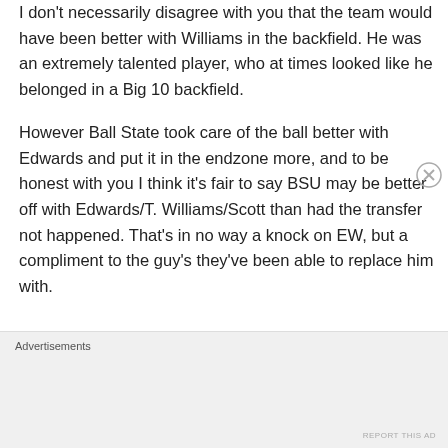I don't necessarily disagree with you that the team would have been better with Williams in the backfield. He was an extremely talented player, who at times looked like he belonged in a Big 10 backfield.

However Ball State took care of the ball better with Edwards and put it in the endzone more, and to be honest with you I think it's fair to say BSU may be better off with Edwards/T. Williams/Scott than had the transfer not happened. That's in no way a knock on EW, but a compliment to the guy's they've been able to replace him with.
Advertisements